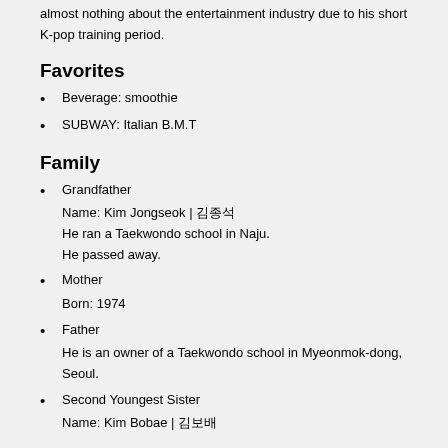almost nothing about the entertainment industry due to his short K-pop training period.
Favorites
Beverage: smoothie
SUBWAY: Italian B.M.T
Family
Grandfather
Name: Kim Jongseok | 김종석
He ran a Taekwondo school in Naju.
He passed away.
Mother
Born: 1974
Father
He is an owner of a Taekwondo school in Myeonmok-dong, Seoul.
Second Youngest Sister
Name: Kim Bobae | 김보배